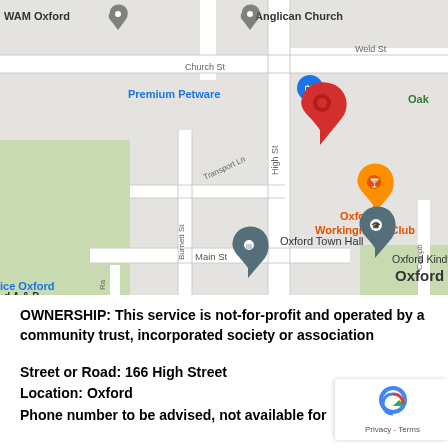[Figure (map): Google Maps screenshot showing Oxford town centre area with streets including High St, Burnett St, Transport Ln, Church St, Weld St, Main St. Notable labels: WAM Oxford, Anglican Church, Premium Petware (blue shopping pin), Oxford Workingmens Club (orange pin with cocktail icon), red location pin, Oxford Town Hall, Oxford Kindy, Oxford (city label), Ice Oxford, d A & P ground, Oak. Green areas visible representing parks/grounds.]
OWNERSHIP: This service is not-for-profit and operated by a community trust, incorporated society or association
Street or Road: 166 High Street
Location: Oxford
Phone number to be advised, not available for